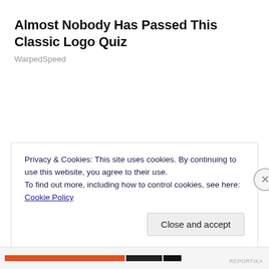Almost Nobody Has Passed This Classic Logo Quiz
WarpedSpeed
Privacy & Cookies: This site uses cookies. By continuing to use this website, you agree to their use.
To find out more, including how to control cookies, see here: Cookie Policy
Close and accept